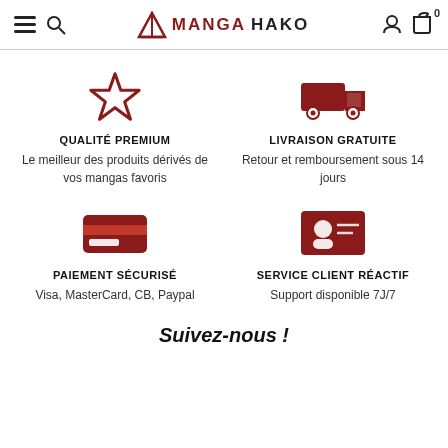MangaHako
[Figure (illustration): Star outline icon in dark red]
QUALITÉ PREMIUM
Le meilleur des produits dérivés de vos mangas favoris
[Figure (illustration): Delivery truck icon in dark red]
LIVRAISON GRATUITE
Retour et remboursement sous 14 jours
[Figure (illustration): Credit card icon in dark red]
PAIEMENT SÉCURISÉ
Visa, MasterCard, CB, Paypal
[Figure (illustration): Contact / email person icon in dark red]
SERVICE CLIENT RÉACTIF
Support disponible 7J/7
Suivez-nous !